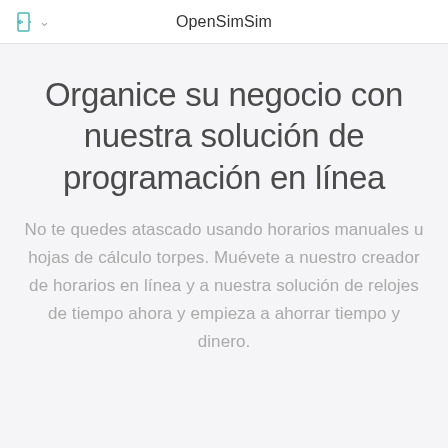OpenSimSim
Organice su negocio con nuestra solución de programación en línea
No te quedes atascado usando horarios manuales u hojas de cálculo torpes. Muévete a nuestro creador de horarios en línea y a nuestra solución de relojes de tiempo ahora y empieza a ahorrar tiempo y dinero.